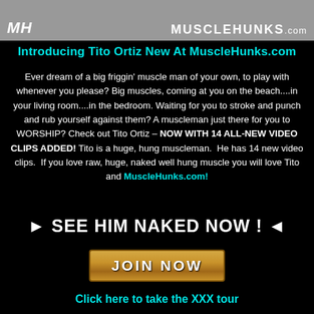MH | MuscleHunks.com
Introducing Tito Ortiz New At MuscleHunks.com
Ever dream of a big friggin' muscle man of your own, to play with whenever you please? Big muscles, coming at you on the beach....in your living room....in the bedroom. Waiting for you to stroke and punch and rub yourself against them? A muscleman just there for you to WORSHIP? Check out Tito Ortiz – NOW WITH 14 ALL-NEW VIDEO CLIPS ADDED! Tito is a huge, hung muscleman. He has 14 new video clips. If you love raw, huge, naked well hung muscle you will love Tito and MuscleHunks.com!
► SEE HIM NAKED NOW ! ◄
[Figure (other): JOIN NOW button with gold/bronze gradient background]
Click here to take the XXX tour